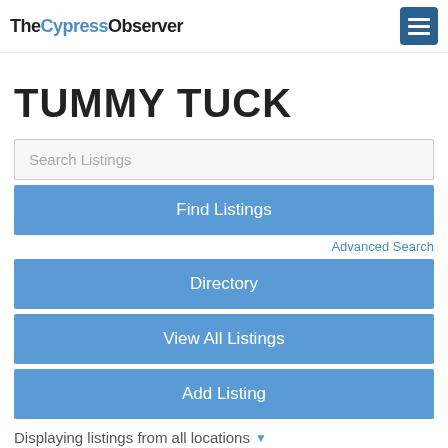TheCypressObserver
TUMMY TUCK
Search Listings
Find Listings
Advanced Search
Directory
View All Listings
Add Listing
Displaying listings from all locations